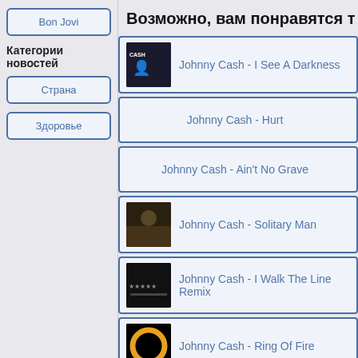Bon Jovi
Категории новостей
Страна
Здоровье
Возможно, вам понравятся т
Johnny Cash - I See A Darkness
Johnny Cash - Hurt
Johnny Cash - Ain't No Grave
Johnny Cash - Solitary Man
Johnny Cash - I Walk The Line Remix
Johnny Cash - Ring Of Fire
Johnny Cash - I Walk The Line
Johnny Cash - Man In Black